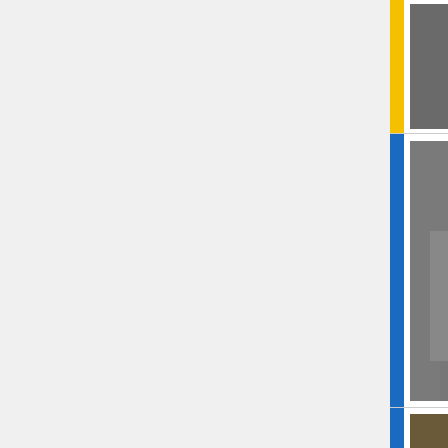[Figure (photo): Portrait photo of 1st Baron Buckmaster in judicial robes]
1st Baron Buckmaster PC
(1861–1934)
[Figure (photo): Portrait painting of Robert Finlay, 1st Baron Finlay]
The Right Honourable Robert Finlay
1st Baron Finlay
GCMG PC
(1842–1929)
[Figure (photo): Portrait of F. E. Smith, 1st Baron Birkenhead in Lord Chancellor robes]
The Right Honourable F. E. Smith
1st Baron Birkenhead
PC
(1872–1930)
[Figure (photo): Portrait of George Cave, 1st Viscount Cave in judicial robes]
The Right Honourable George Cave
1st Viscount Cave
GCMG PC
(1856–1928)
[Figure (photo): Portrait of Richard Haldane in judicial robes]
The Right Honourable Richard Haldan...